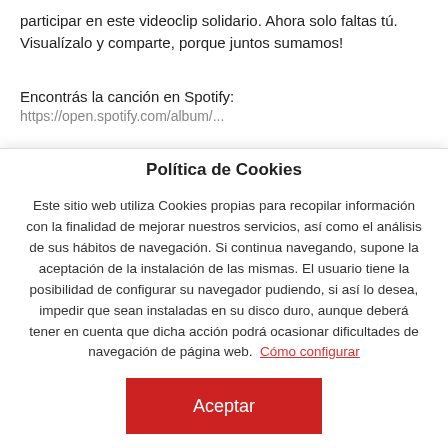participar en este videoclip solidario. Ahora solo faltas tú. Visualízalo y comparte, porque juntos sumamos!
Encontrás la canción en Spotify:
[url partially visible]
Política de Cookies
Este sitio web utiliza Cookies propias para recopilar información con la finalidad de mejorar nuestros servicios, así como el análisis de sus hábitos de navegación. Si continua navegando, supone la aceptación de la instalación de las mismas. El usuario tiene la posibilidad de configurar su navegador pudiendo, si así lo desea, impedir que sean instaladas en su disco duro, aunque deberá tener en cuenta que dicha acción podrá ocasionar dificultades de navegación de página web.  Cómo configurar
Aceptar